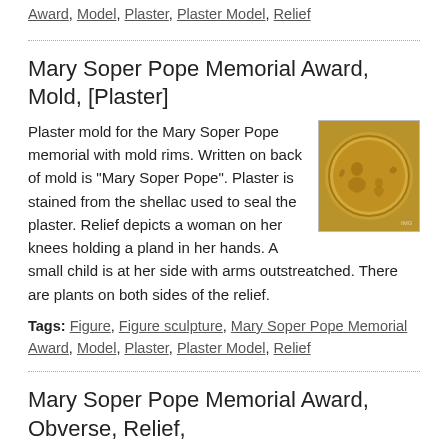Award, Model, Plaster, Plaster Model, Relief
Mary Soper Pope Memorial Award, Mold, [Plaster]
[Figure (photo): Circular plaster mold with golden/amber color showing a relief of a woman on her knees holding a plant with a child at her side, viewed from above]
Plaster mold for the Mary Soper Pope memorial with mold rims. Written on back of mold is "Mary Soper Pope". Plaster is stained from the shellac used to seal the plaster. Relief depicts a woman on her knees holding a pland in her hands. A small child is at her side with arms outstreatched. There are plants on both sides of the relief.
Tags: Figure, Figure sculpture, Mary Soper Pope Memorial Award, Model, Plaster, Plaster Model, Relief
Mary Soper Pope Memorial Award, Obverse, Relief,